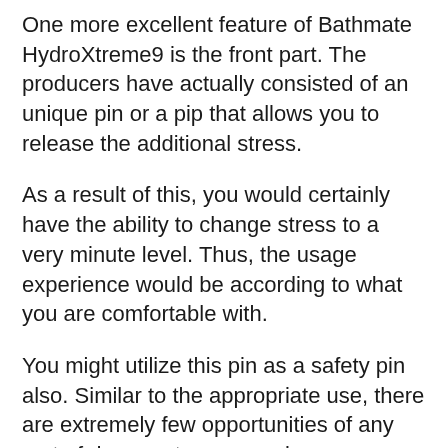One more excellent feature of Bathmate HydroXtreme9 is the front part. The producers have actually consisted of an unique pin or a pip that allows you to release the additional stress.
As a result of this, you would certainly have the ability to change stress to a very minute level. Thus, the usage experience would be according to what you are comfortable with.
You might utilize this pin as a safety pin also. Similar to the appropriate use, there are extremely few opportunities of any sort of damage to your penis.
Just How To Make Use Of Bathmate HydroXtreme9?